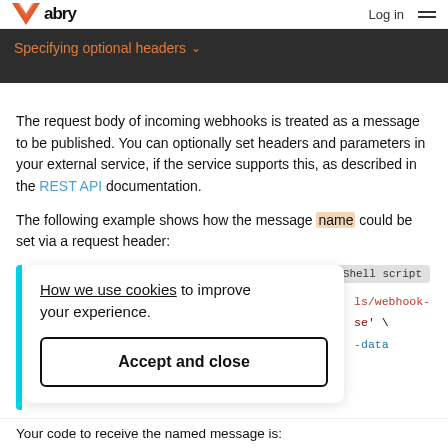Abry | Log in
Specifying optional headers
The request body of incoming webhooks is treated as a message to be published. You can optionally set headers and parameters in your external service, if the service supports this, as described in the REST API documentation.
The following example shows how the message name could be set via a request header:
[Figure (screenshot): Cookie consent popup with 'How we use cookies to improve your experience.' text and an Accept and close button]
[Figure (screenshot): Partial Shell script code block showing webhook-related code with ls/webhook-, se' backslash, and -data]
Your code to receive the named message is: